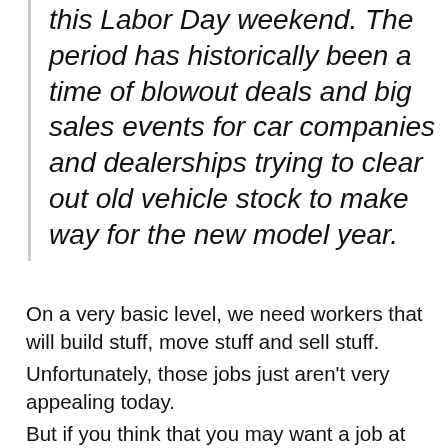prospects in trying to buy a car this Labor Day weekend. The period has historically been a time of blowout deals and big sales events for car companies and dealerships trying to clear out old vehicle stock to make way for the new model year.
On a very basic level, we need workers that will build stuff, move stuff and sell stuff.
Unfortunately, those jobs just aren't very appealing today.
But if you think that you may want a job at